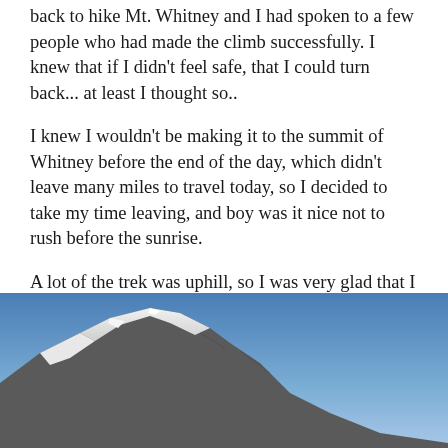back to hike Mt. Whitney and I had spoken to a few people who had made the climb successfully. I knew that if I didn't feel safe, that I could turn back... at least I thought so..
I knew I wouldn't be making it to the summit of Whitney before the end of the day, which didn't leave many miles to travel today, so I decided to take my time leaving, and boy was it nice not to rush before the sunrise.
A lot of the trek was uphill, so I was very glad that I didn't try to go farther the day prior. I camped at guitar lake, and it sure was pretty! Plus, I met new people and had great company!
[Figure (photo): Mountain landscape photo showing snow-capped rocky peaks against a blue sky gradient, viewed from below with the mountain ridge cutting diagonally across the frame.]